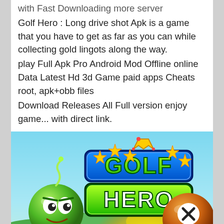with Fast Downloading more server
Golf Hero : Long drive shot Apk is a game that you have to get as far as you can while collecting gold lingots along the way.
play Full Apk Pro Android Mod Offline online Data Latest Hd 3d Game paid apps Cheats root, apk+obb files
Download Releases All Full version enjoy game... with direct link.
[Figure (illustration): Golf Hero game promotional image showing two monster golf ball characters (a green one and an orange/brown one) with the text 'GOLF HERO' in large blue and green letters with stars, set against a golf course background with blue sky.]